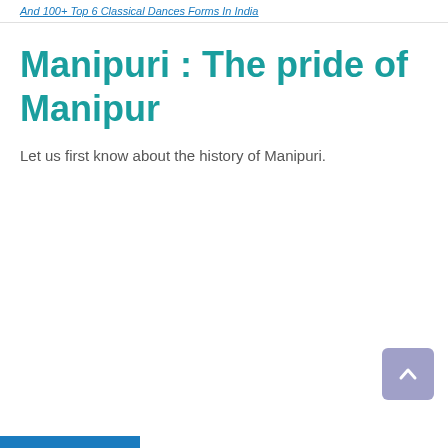And 100+ Top 6 Classical Dances Forms In India
Manipuri : The pride of Manipur
Let us first know about the history of Manipuri.